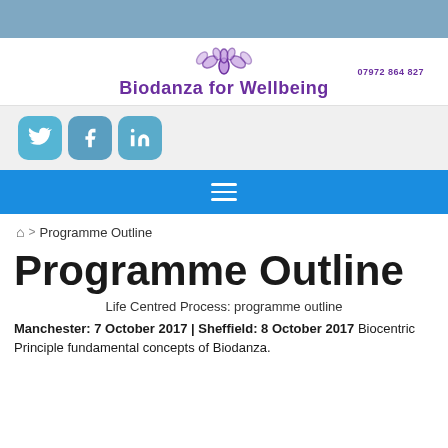Biodanza for Wellbeing | 07972 864 827
[Figure (logo): Biodanza for Wellbeing logo with decorative floral/butterfly motif and brand name in purple]
[Figure (other): Social media icons: Twitter, Facebook, LinkedIn]
[Figure (other): Navigation menu bar with hamburger icon on blue background]
🏠 > Programme Outline
Programme Outline
Life Centred Process: programme outline
Manchester: 7 October 2017 | Sheffield: 8 October 2017 Biocentric Principle fundamental concepts of Biodanza.